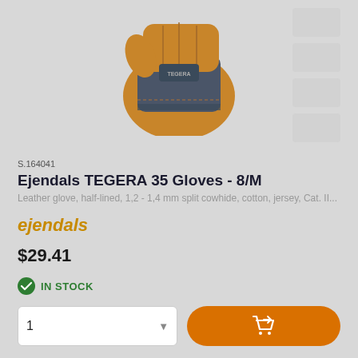[Figure (photo): Product photo of Ejendals TEGERA 35 leather work gloves in tan/orange and grey, shown from above. Faint thumbnail strip on the right side.]
S.164041
Ejendals TEGERA 35 Gloves - 8/M
Leather glove, half-lined, 1,2 - 1,4 mm split cowhide, cotton, jersey, Cat. II...
ejendals
$29.41
IN STOCK
1